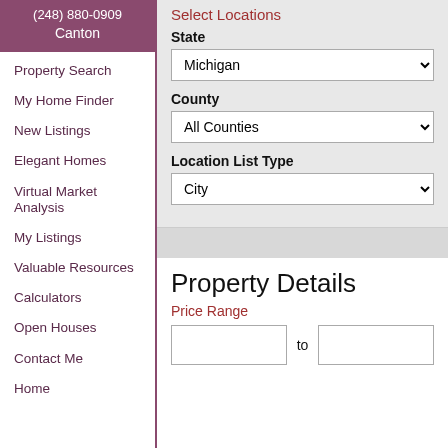(248) 880-0909
Canton
Property Search
My Home Finder
New Listings
Elegant Homes
Virtual Market Analysis
My Listings
Valuable Resources
Calculators
Open Houses
Contact Me
Home
Select Locations
State: Michigan
County: All Counties
Location List Type: City
Property Details
Price Range
to